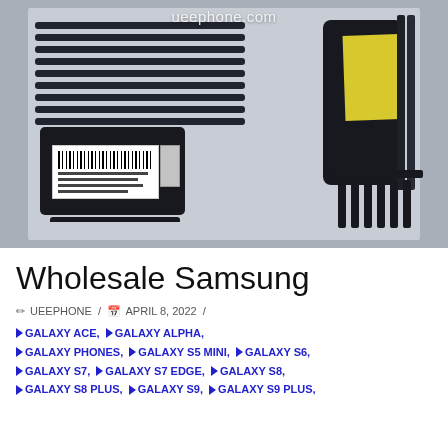[Figure (photo): A top-down photograph of multiple Samsung mobile phones stacked and packaged in plastic trays, with barcode stickers visible. A yellow sticker label is on one of the phones to the right. The watermark 'ueephone.com' appears at the top of the image.]
Wholesale Samsung
✏ UEEPHONE / 📅 APRIL 8, 2022 /
GALAXY ACE, GALAXY ALPHA,
GALAXY PHONES, GALAXY S5 MINI, GALAXY S6,
GALAXY S7, GALAXY S7 EDGE, GALAXY S8,
GALAXY S8 PLUS, GALAXY S9, GALAXY S9 PLUS,